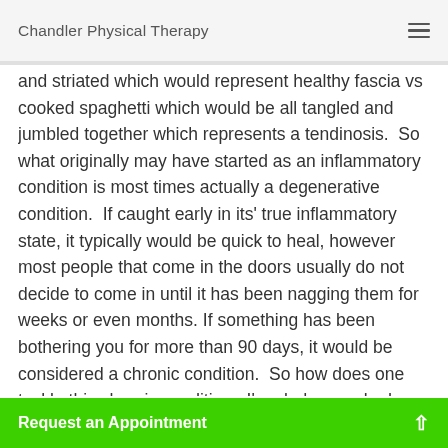Chandler Physical Therapy
and striated which would represent healthy fascia vs cooked spaghetti which would be all tangled and jumbled together which represents a tendinosis.  So what originally may have started as an inflammatory condition is most times actually a degenerative condition.  If caught early in its' true inflammatory state, it typically would be quick to heal, however most people that come in the doors usually do not decide to come in until it has been nagging them for weeks or even months. If something has been bothering you for more than 90 days, it would be considered a chronic condition.  So how does one tackle this chronic condition.  I'm glad you asked, however, one must first understand the physiology of tissue healing and
Request an Appointment